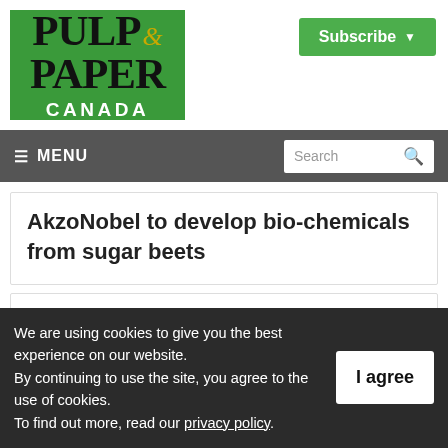[Figure (logo): Pulp & Paper Canada logo on green background]
[Figure (other): Subscribe button with green background and dropdown arrow]
≡ MENU   Search 🔍
AkzoNobel to develop bio-chemicals from sugar beets
Taking sustainability to a new level
We are using cookies to give you the best experience on our website. By continuing to use the site, you agree to the use of cookies. To find out more, read our privacy policy.